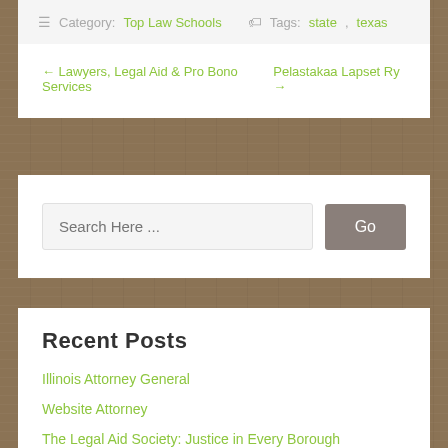☰ Category: Top Law Schools 🏷 Tags: state, texas
← Lawyers, Legal Aid & Pro Bono Services   Pelastakaa Lapset Ry →
Search Here ...   Go
Recent Posts
Illinois Attorney General
Website Attorney
The Legal Aid Society: Justice in Every Borough